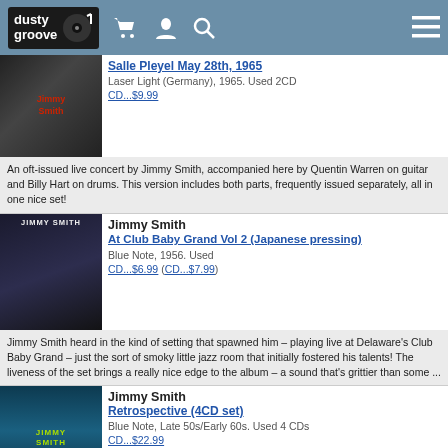dusty groove
Salle Pleyel May 28th, 1965
Laser Light (Germany), 1965. Used 2CD
CD...$9.99
An oft-issued live concert by Jimmy Smith, accompanied here by Quentin Warren on guitar and Billy Hart on drums. This version includes both parts, frequently issued separately, all in one nice set!
Jimmy Smith
At Club Baby Grand Vol 2 (Japanese pressing)
Blue Note, 1956. Used
CD...$6.99 (CD...$7.99)
Jimmy Smith heard in the kind of setting that spawned him – playing live at Delaware's Club Baby Grand – just the sort of smoky little jazz room that initially fostered his talents! The liveness of the set brings a really nice edge to the album – a sound that's grittier than some ...
Jimmy Smith
Retrospective (4CD set)
Blue Note, Late 50s/Early 60s. Used 4 CDs
CD...$22.99
38 tracks over four CDs.
Jimmy Smith